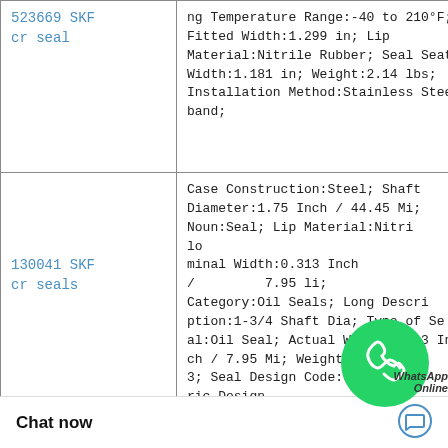| Product | Specifications |
| --- | --- |
| 523669 SKF cr seal | ng Temperature Range:-40 to 210°F; Fitted Width:1.299 in; Lip Material:Nitrile Rubber; Seal Seat Width:1.181 in; Weight:2.14 lbs; Installation Method:Stainless Steel band; |
| 130041 SKF cr seals | Case Construction:Steel; Shaft Diameter:1.75 Inch / 44.45 Mi; Noun:Seal; Lip Material:Nitrile; Nominal Width:0.313 Inch / 7.95 Mi; Category:Oil Seals; Long Description:1-3/4 Shaft Dia; Type of Seal:Oil Seal; Actual Width:0.313 Inch / 7.95 Mi; Weight / LBS:0.093; Seal Design Code:CRW1; Generic Design |
|  | Shaft Diameter:9.5 Inch / 241.3 Mil; Keyword String:Lip; Nominal Inch / 23.825; Case Construction:Steel; Weight / K... Type of Seal:Oil S... |
[Figure (illustration): WhatsApp Online chat bubble overlay in the middle-right area of the page]
Chat now